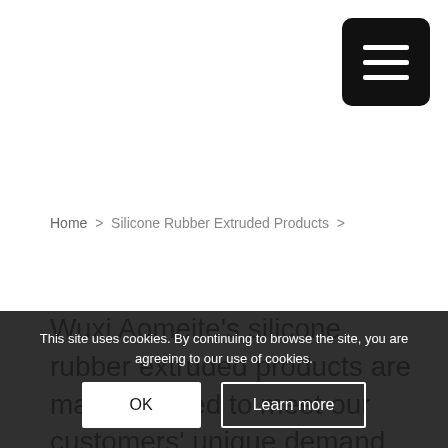[Figure (other): Hamburger menu button (three horizontal white lines on black rounded square background)]
Home > Silicone Rubber Extruded Products >
Wuxi Aomeite’s silicone rubber extruded products are manufactured to meet our customers’ unique demand. We stock a wide range of Chinese manufactured Silicone and Silicone Sponge Extrusions to suit various applications and
This site uses cookies. By continuing to browse the site, you are agreeing to our use of cookies.
OK
Learn more